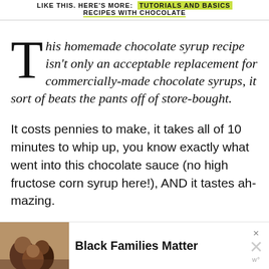LIKE THIS. HERE'S MORE: TUTORIALS AND BASICS RECIPES WITH CHOCOLATE
This homemade chocolate syrup recipe isn't only an acceptable replacement for commercially-made chocolate syrups, it sort of beats the pants off of store-bought.
It costs pennies to make, it takes all of 10 minutes to whip up, you know exactly what went into this chocolate sauce (no high fructose corn syrup here!), AND it tastes ah-mazing.
[Figure (other): Advertisement banner with photo of people and text 'Black Families Matter']